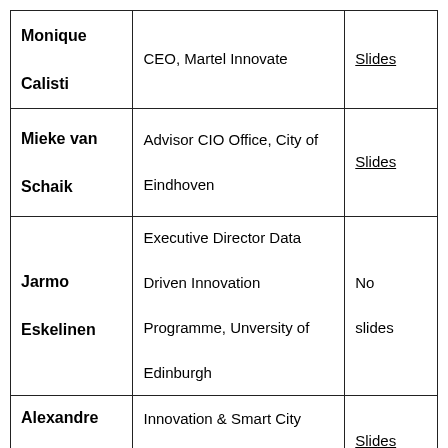| Name | Role | Slides |
| --- | --- | --- |
| Monique Calisti | CEO, Martel Innovate | Slides |
| Mieke van Schaik | Advisor CIO Office, City of Eindhoven | Slides |
| Jarmo Eskelinen | Executive Director Data Driven Innovation Programme, Unversity of Edinburgh | No slides |
| Alexandre Chaffotte | Innovation & Smart City Manager, City Saint-Quentin | Slides |
|  |  |  |